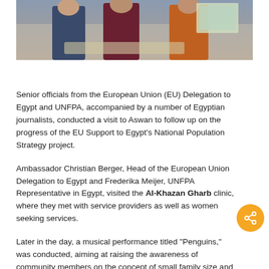[Figure (photo): Photograph showing senior officials from the European Union and UNFPA, several people visible from waist up, appearing to be at a signing or meeting event]
Senior officials from the European Union (EU) Delegation to Egypt and UNFPA, accompanied by a number of Egyptian journalists, conducted a visit to Aswan to follow up on the progress of the EU Support to Egypt's National Population Strategy project.
Ambassador Christian Berger, Head of the European Union Delegation to Egypt and Frederika Meijer, UNFPA Representative in Egypt, visited the Al-Khazan Gharb clinic, where they met with service providers as well as women seeking services.
Later in the day, a musical performance titled "Penguins," was conducted, aiming at raising the awareness of community members on the concept of small family size and family planning.
The performance is the product of workshops